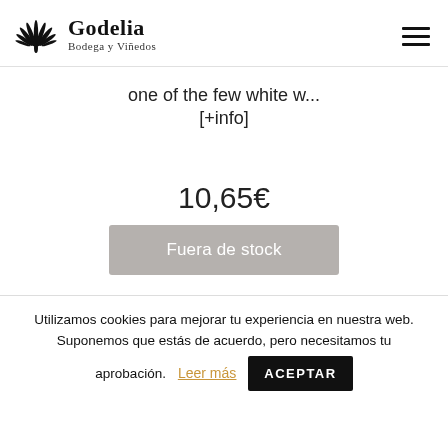Godelia Bodega y Viñedos
one of the few white w... [+info]
10,65€
Fuera de stock
Utilizamos cookies para mejorar tu experiencia en nuestra web. Suponemos que estás de acuerdo, pero necesitamos tu aprobación. Leer más ACEPTAR